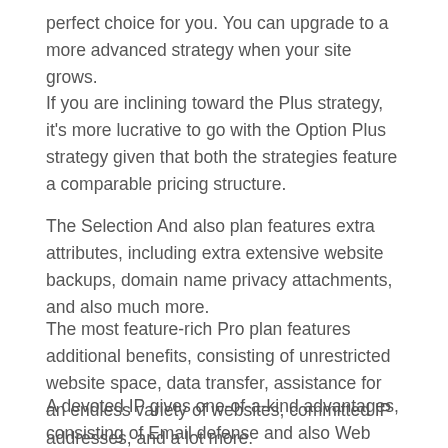perfect choice for you. You can upgrade to a more advanced strategy when your site grows.
If you are inclining toward the Plus strategy, it's more lucrative to go with the Option Plus strategy given that both the strategies feature a comparable pricing structure.
The Selection And also plan features extra attributes, including extra extensive website backups, domain name privacy attachments, and also much more.
The most feature-rich Pro plan features additional benefits, consisting of unrestricted website space, data transfer, assistance for an endless variety of websites, committed IP addresses, and a lot more.
A devoted IP gives one-of-a-kind advantages, consisting of Email defense and also Web server Script demands.